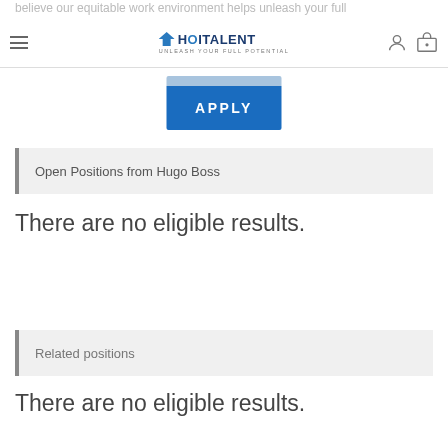HOITALENT — UNLEASH YOUR FULL POTENTIAL
[Figure (screenshot): Blue APPLY button with lighter blue top strip]
Open Positions from Hugo Boss
There are no eligible results.
Related positions
There are no eligible results.